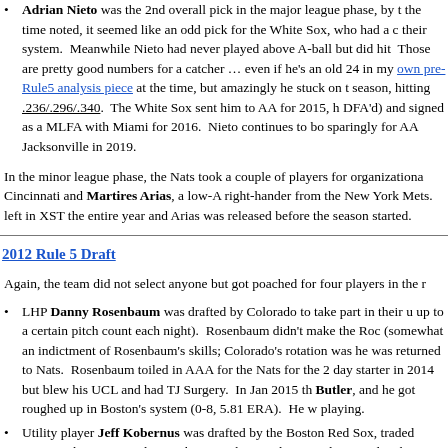Adrian Nieto was the 2nd overall pick in the major league phase, by the time noted, it seemed like an odd pick for the White Sox, who had a catcher in their system. Meanwhile Nieto had never played above A-ball but did hit well. Those are pretty good numbers for a catcher … even if he's an old 24 in my own pre-Rule5 analysis piece at the time, but amazingly he stuck on the season, hitting .236/.296/.340. The White Sox sent him to AA for 2015, h... DFA'd) and signed as a MLFA with Miami for 2016. Nieto continues to bounce sparingly for AA Jacksonville in 2019.
In the minor league phase, the Nats took a couple of players for organizational Cincinnati and Martires Arias, a low-A right-hander from the New York Mets. left in XST the entire year and Arias was released before the season started.
2012 Rule 5 Draft
Again, the team did not select anyone but got poached for four players in the major league phase.
LHP Danny Rosenbaum was drafted by Colorado to take part in their up to a certain pitch count each night). Rosenbaum didn't make the Rockies (somewhat an indictment of Rosenbaum's skills; Colorado's rotation was) he was returned to Nats. Rosenbaum toiled in AAA for the Nats for the 2 day starter in 2014 but blew his UCL and had TJ Surgery. In Jan 2015 th Butler, and he got roughed up in Boston's system (0-8, 5.81 ERA). He w playing.
Utility player Jeff Kobernus was drafted by the Boston Red Sox, traded Nats. Kobernus turned out to be quite the speedster, stealing nearly a base.